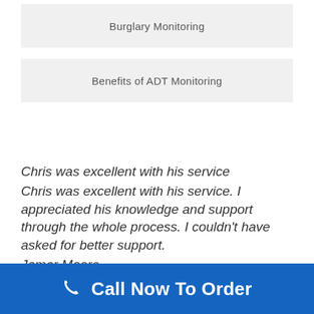Burglary Monitoring
Benefits of ADT Monitoring
Chris was excellent with his service
Chris was excellent with his service. I appreciated his knowledge and support through the whole process. I couldn't have asked for better support.
Jamar Moore
SafeStreets Trust Pilot Reviews
Call Now To Order